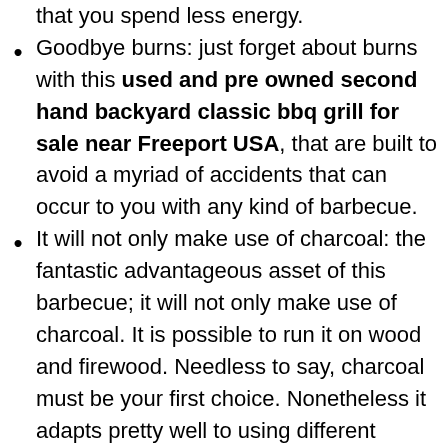that you spend less energy.
Goodbye burns: just forget about burns with this used and pre owned second hand backyard classic bbq grill for sale near Freeport USA, that are built to avoid a myriad of accidents that can occur to you with any kind of barbecue.
It will not only make use of charcoal: the fantastic advantageous asset of this barbecue; it will not only make use of charcoal. It is possible to run it on wood and firewood. Needless to say, charcoal must be your first choice. Nonetheless it adapts pretty well to using different